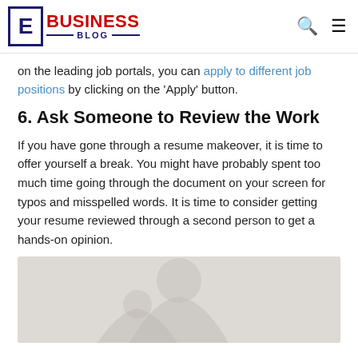E BUSINESS BLOG
on the leading job portals, you can apply to different job positions by clicking on the 'Apply' button.
6. Ask Someone to Review the Work
If you have gone through a resume makeover, it is time to offer yourself a break. You might have probably spent too much time going through the document on your screen for typos and misspelled words. It is time to consider getting your resume reviewed through a second person to get a hands-on opinion.
[Figure (photo): A blurred/faded photo showing a person, partially visible, likely reviewing a document or working.]